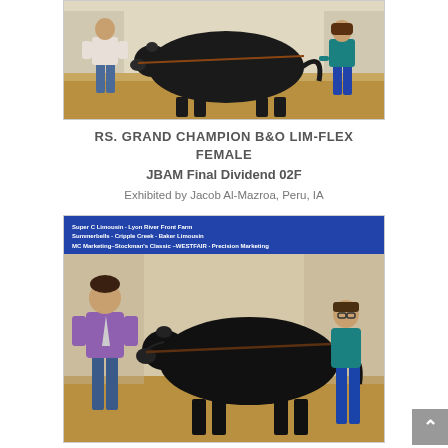[Figure (photo): A large black cattle/cow shown in profile between two handlers at a livestock show, standing on sawdust flooring. One handler in jeans and light shirt on left, one in teal top on right.]
RS. GRAND CHAMPION B&O LIM-FLEX FEMALE
JBAM Final Dividend 02F
Exhibited by Jacob Al-Mazroa, Peru, IA
[Figure (photo): A large black cattle shown in profile at a livestock show, with a blue sponsor banner at top reading 'Super C Limousin - Lyon River Front Farm Summerbells - Cripple Creek - Baker Limousin MC Marketing-Stockman's Classic -WESTFAIR - Precision Marketing'. A man in purple shirt and tie stands on left, a young handler in teal top stands on right.]